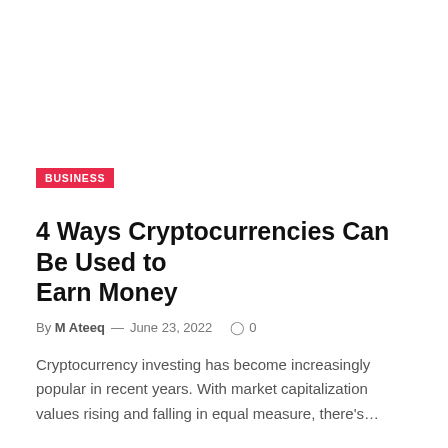BUSINESS
4 Ways Cryptocurrencies Can Be Used to Earn Money
By M Ateeq — June 23, 2022   0
Cryptocurrency investing has become increasingly popular in recent years. With market capitalization values rising and falling in equal measure, there's…